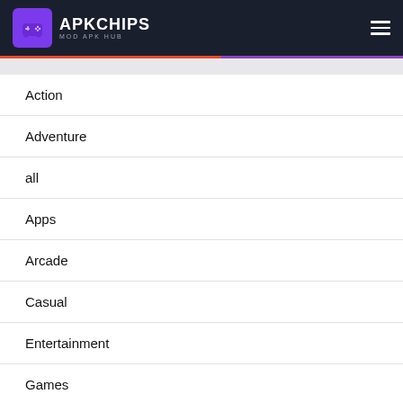APKCHIPS MOD APK HUB
Action
Adventure
all
Apps
Arcade
Casual
Entertainment
Games
Health & Fitness
Music